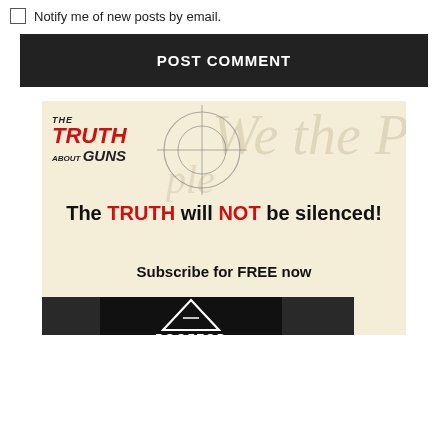Notify me of new posts by email.
POST COMMENT
[Figure (illustration): The Truth About Guns advertisement showing logo with crosshair graphic, cursive 'We the People' watermark text from Constitution, bold text reading 'The TRUTH will NOT be silenced!' and 'Subscribe for FREE now', overlapping with a Rooftop Arms advertisement showing triangle logo, guns imagery, and text 'Range Ready | Ultra Premium | Custom | Hand Assembled Guns. Click to enter our $1000 raffle now. USA MADE - VETERAN OWNED']